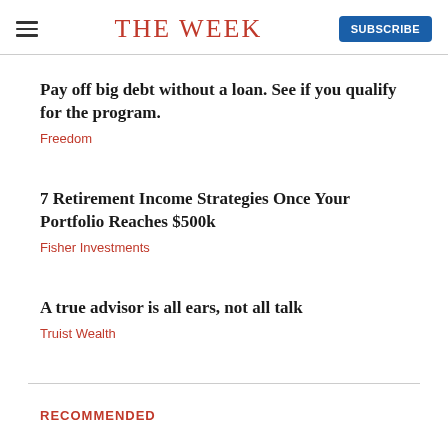THE WEEK
Pay off big debt without a loan. See if you qualify for the program.
Freedom
7 Retirement Income Strategies Once Your Portfolio Reaches $500k
Fisher Investments
A true advisor is all ears, not all talk
Truist Wealth
RECOMMENDED